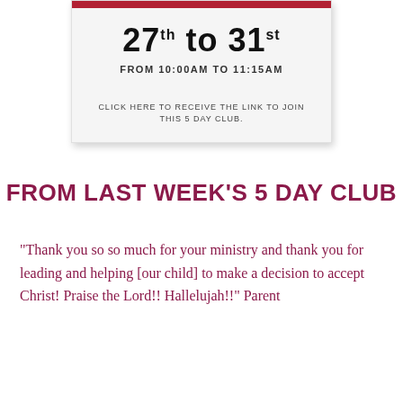[Figure (infographic): A card/flyer graphic with a red top bar, showing dates '27th to 31st' and time 'FROM 10:00AM TO 11:15AM' and text 'CLICK HERE TO RECEIVE THE LINK TO JOIN THIS 5 DAY CLUB.']
FROM LAST WEEK'S 5 DAY CLUB
“Thank you so so much for your ministry and thank you for leading and helping [our child] to make a decision to accept Christ!  Praise the Lord!! Hallelujah!!” Parent